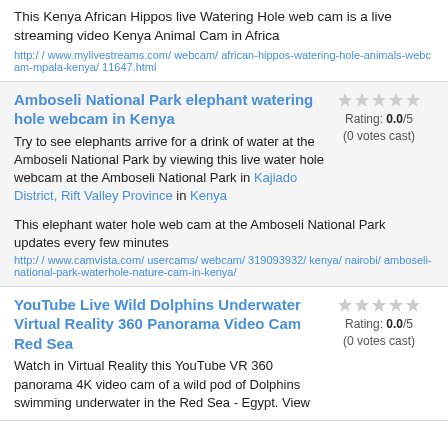This Kenya African Hippos live Watering Hole web cam is a live streaming video Kenya Animal Cam in Africa
http://www.mylivestreams.com/webcam/african-hippos-watering-hole-animals-webcam-mpala-kenya/11647.html
Amboseli National Park elephant watering hole webcam in Kenya
Try to see elephants arrive for a drink of water at the Amboseli National Park by viewing this live water hole webcam at the Amboseli National Park in Kajiado District, Rift Valley Province in Kenya
This elephant water hole web cam at the Amboseli National Park updates every few minutes
http://www.camvista.com/usercams/webcam/319093932/kenya/nairobi/amboseli-national-park-waterhole-nature-cam-in-kenya/
Rating: 0.0/5 (0 votes cast)
YouTube Live Wild Dolphins Underwater Virtual Reality 360 Panorama Video Cam Red Sea
Watch in Virtual Reality this YouTube VR 360 panorama 4K video cam of a wild pod of Dolphins swimming underwater in the Red Sea - Egypt. View
Rating: 0.0/5 (0 votes cast)